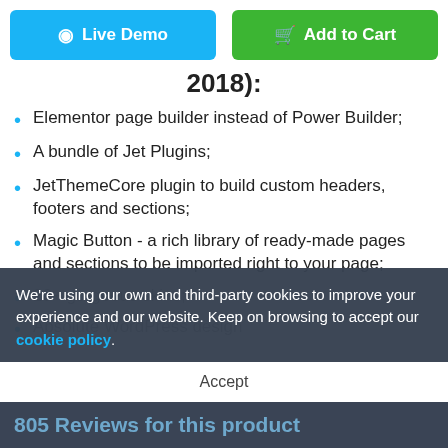[Figure (other): Blue 'Live Demo' button and green 'Add to Cart' button side by side at top of page]
2018):
Elementor page builder instead of Power Builder;
A bundle of Jet Plugins;
JetThemeCore plugin to build custom headers, footers and sections;
Magic Button - a rich library of ready-made pages and sections to be imported right to your page;
20+ gorgeous skins;
Absolute WordPress design
We're using our own and third-party cookies to improve your experience and our website. Keep on browsing to accept our cookie policy.
Accept
805 Reviews for this product